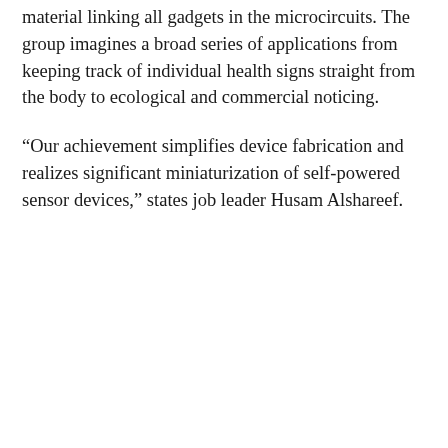material linking all gadgets in the microcircuits. The group imagines a broad series of applications from keeping track of individual health signs straight from the body to ecological and commercial noticing.
“Our achievement simplifies device fabrication and realizes significant miniaturization of self-powered sensor devices,” states job leader Husam Alshareef.